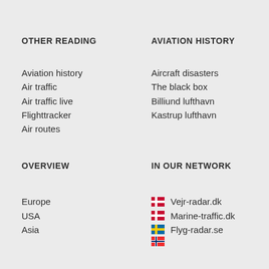OTHER READING
Aviation history
Air traffic
Air traffic live
Flighttracker
Air routes
AVIATION HISTORY
Aircraft disasters
The black box
Billiund lufthavn
Kastrup lufthavn
OVERVIEW
Europe
USA
Asia
IN OUR NETWORK
Vejr-radar.dk
Marine-traffic.dk
Flyg-radar.se